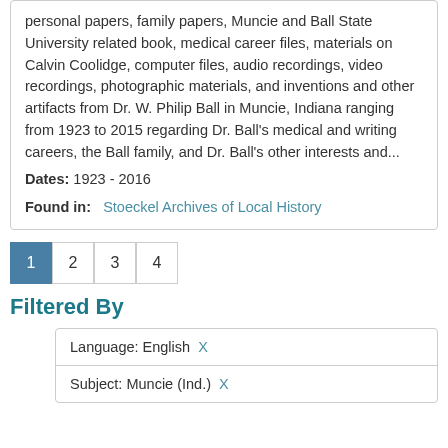personal papers, family papers, Muncie and Ball State University related book, medical career files, materials on Calvin Coolidge, computer files, audio recordings, video recordings, photographic materials, and inventions and other artifacts from Dr. W. Philip Ball in Muncie, Indiana ranging from 1923 to 2015 regarding Dr. Ball's medical and writing careers, the Ball family, and Dr. Ball's other interests and... Dates: 1923 - 2016
Found in: Stoeckel Archives of Local History
1
2
3
4
Filtered By
Language: English X
Subject: Muncie (Ind.) X